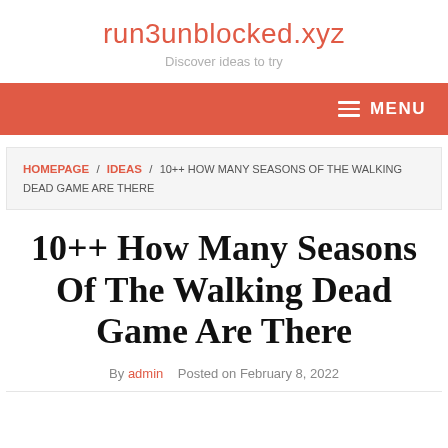run3unblocked.xyz
Discover ideas to try
MENU
HOMEPAGE / IDEAS / 10++ HOW MANY SEASONS OF THE WALKING DEAD GAME ARE THERE
10++ How Many Seasons Of The Walking Dead Game Are There
By admin   Posted on February 8, 2022